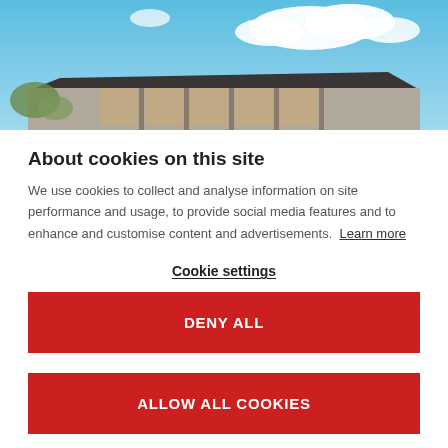[Figure (photo): Exterior rendering of a commercial/industrial building with dark roof panels and glass facade sections, under a blue sky with white clouds.]
About cookies on this site
We use cookies to collect and analyse information on site performance and usage, to provide social media features and to enhance and customise content and advertisements. Learn more
Cookie settings
DENY ALL
ALLOW ALL COOKIES